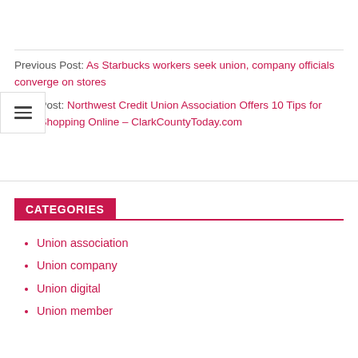Previous Post: As Starbucks workers seek union, company officials converge on stores
Next Post: Northwest Credit Union Association Offers 10 Tips for Safe Shopping Online – ClarkCountyToday.com
CATEGORIES
Union association
Union company
Union digital
Union member